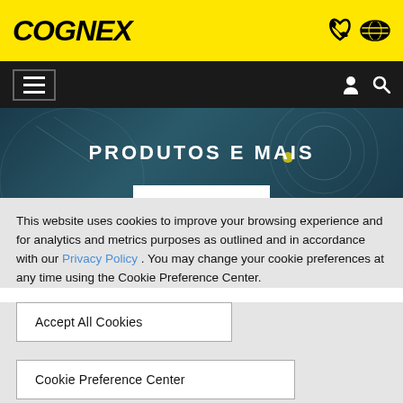[Figure (logo): Cognex logo in black bold italic text on yellow background, with phone and world map icons on the right]
[Figure (screenshot): Black navigation bar with hamburger menu on left, user and search icons on right]
[Figure (screenshot): Dark teal hero banner with white bold uppercase text PRODUTOS E MAIS and decorative white bar at bottom]
This website uses cookies to improve your browsing experience and for analytics and metrics purposes as outlined and in accordance with our Privacy Policy . You may change your cookie preferences at any time using the Cookie Preference Center.
Accept All Cookies
Cookie Preference Center